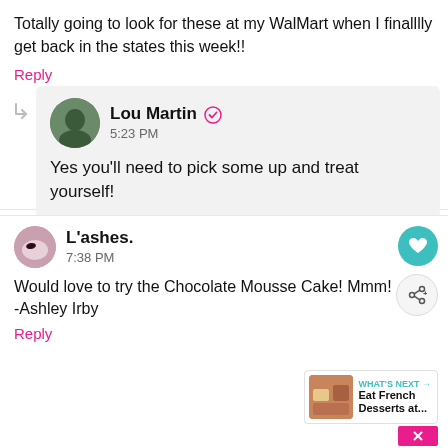Totally going to look for these at my WalMart when I finalllly get back in the states this week!!
Reply
Lou Martin 5:23 PM
Yes you'll need to pick some up and treat yourself!
L'ashes. 7:38 PM
Would love to try the Chocolate Mousse Cake! Mmm! -Ashley Irby
Reply